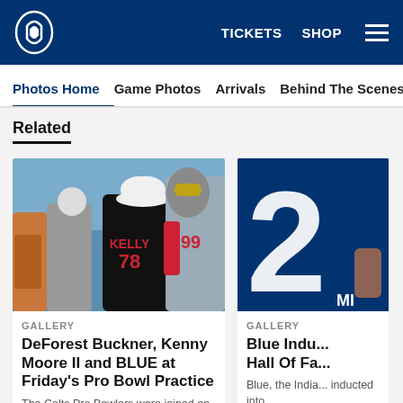Indianapolis Colts - TICKETS SHOP [menu]
Photos Home | Game Photos | Arrivals | Behind The Scenes | Trav...
Related
[Figure (photo): Football players on field, one wearing KELLY 78 jersey and another wearing #99 jersey with red sleeves and yellow sunglasses, at Pro Bowl practice]
DeForest Buckner, Kenny Moore II and BLUE at Friday's Pro Bowl Practice
The Colts Pro Bowlers were joined on the
[Figure (photo): Blue/navy background with large white number 2, partial Colts jersey number, with 'MI' text at bottom]
Blue Indu... Hall Of Fa...
Blue, the India... inducted into